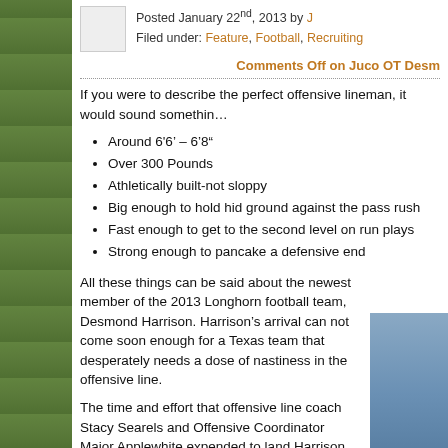Posted January 22nd, 2013 by J
Filed under: Feature, Football, Recruiting
Comments Off on Juco OT Desm...
If you were to describe the perfect offensive lineman, it would sound somethin...
Around 6'6’ – 6’8”
Over 300 Pounds
Athletically built-not sloppy
Big enough to hold hid ground against the pass rush
Fast enough to get to the second level on run plays
Strong enough to pancake a defensive end
All these things can be said about the newest member of the 2013 Longhorn football team, Desmond Harrison. Harrison’s arrival can not come soon enough for a Texas team that desperately needs a dose of nastiness in the offensive line.
The time and effort that offensive line coach Stacy Searels and Offensive Coordinator Major Applewhite expended to land Harrison shows just how much of a priority solidifying the tackle position is for 2013. Having Desmond Harrison on campus makes EVERYONE better and here’s why:
Championship teams are built from the inside out-specifically the offensive line.
A strong offensive line extends drives: punts become field goals; field goal become touchdowns. More touchdowns leads to more victories...
[Figure (photo): Photo of person in blue shirt, partially visible on right side of page]